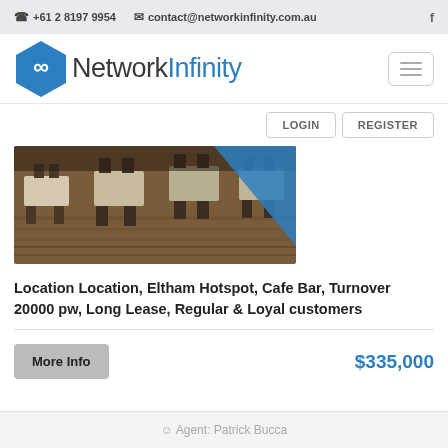+61 2 8197 9954   contact@networkinfinity.com.au   f
[Figure (logo): Network Infinity logo with blue hexagon and infinity symbol]
LOGIN   REGISTER
[Figure (photo): Interior of a cafe bar showing wooden floors, tables and chairs]
Location Location, Eltham Hotspot, Cafe Bar, Turnover 20000 pw, Long Lease, Regular & Loyal customers
$335,000
Agent: Patrick Bucca